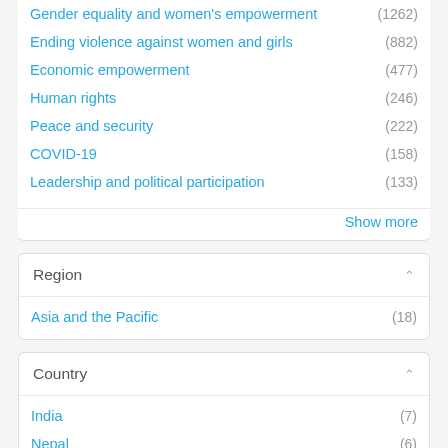Gender equality and women's empowerment (1262)
Ending violence against women and girls (882)
Economic empowerment (477)
Human rights (246)
Peace and security (222)
COVID-19 (158)
Leadership and political participation (133)
Show more
Region
Asia and the Pacific (18)
Country
India (7)
Nepal (6)